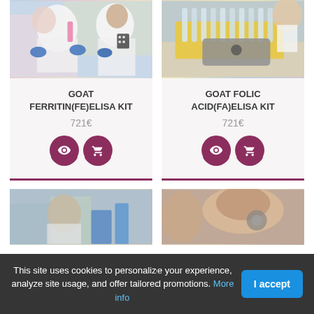[Figure (photo): Two lab researchers in white coats and blue gloves working with pink liquid in a laboratory setting]
[Figure (photo): Female researcher in white coat working with test tubes and lab equipment]
GOAT FERRITIN(FE)ELISA KIT
721€
GOAT FOLIC ACID(FA)ELISA KIT
721€
[Figure (photo): Lab researcher working with blue equipment]
[Figure (photo): Close-up of researcher working with equipment]
This site uses cookies to personalize your experience, analyze site usage, and offer tailored promotions. More info